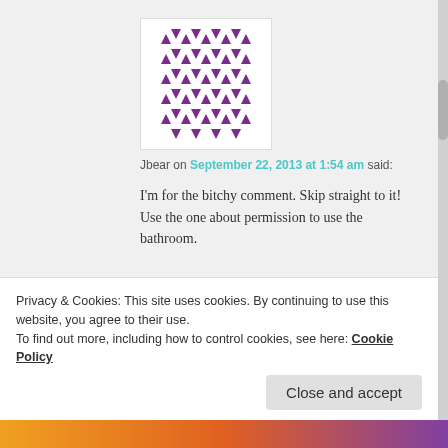[Figure (illustration): Purple geometric snowflake/quilt pattern avatar for user Jbear]
Jbear on September 22, 2013 at 1:54 am said:
I'm for the bitchy comment. Skip straight to it! Use the one about permission to use the bathroom.
Reply ↓
[Figure (photo): Small photo of person with hands on face for 'Is Everyone an Idiot but Me?']
Is Everyone an Idiot but Me? on September 22, 2013 at 9:00 am said:
Privacy & Cookies: This site uses cookies. By continuing to use this website, you agree to their use.
To find out more, including how to control cookies, see here: Cookie Policy
Close and accept